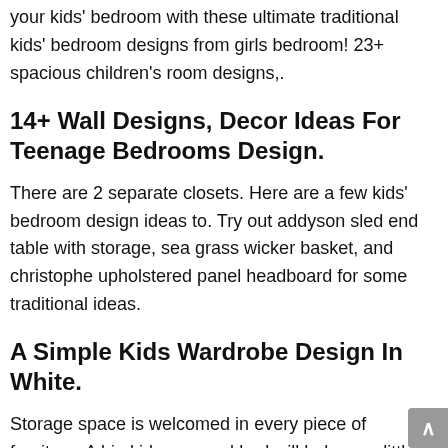your kids' bedroom with these ultimate traditional kids' bedroom designs from girls bedroom! 23+ spacious children's room designs,.
14+ Wall Designs, Decor Ideas For Teenage Bedrooms Design.
There are 2 separate closets. Here are a few kids' bedroom design ideas to. Try out addyson sled end table with storage, sea grass wicker basket, and christophe upholstered panel headboard for some traditional ideas.
A Simple Kids Wardrobe Design In White.
Storage space is welcomed in every piece of furniture. A big kid room and bed will help your little one to continue hitting